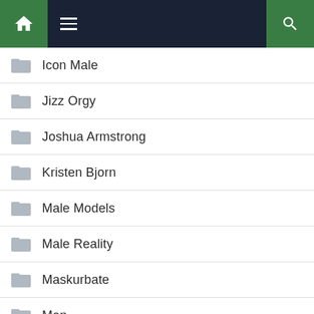Navigation bar with home, menu, and search icons
Icon Male
Jizz Orgy
Joshua Armstrong
Kristen Bjorn
Male Models
Male Reality
Maskurbate
Men
Men At Play
Men Over 30